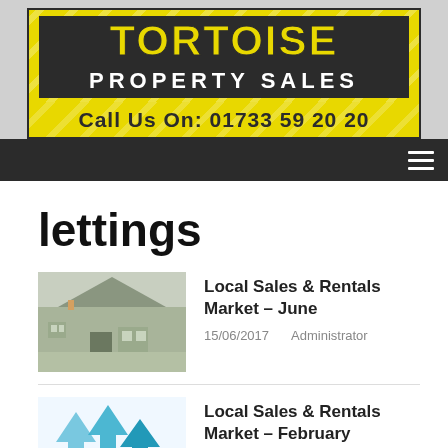[Figure (logo): Tortoise Property Sales logo banner with yellow and dark background, Call Us On: 01733 59 20 20]
lettings
[Figure (photo): Photo of a house/property exterior]
Local Sales & Rentals Market – June
15/06/2017    Administrator
[Figure (illustration): Blue upward arrows graphic]
Local Sales & Rentals Market – February
07/04/2017    Administrator